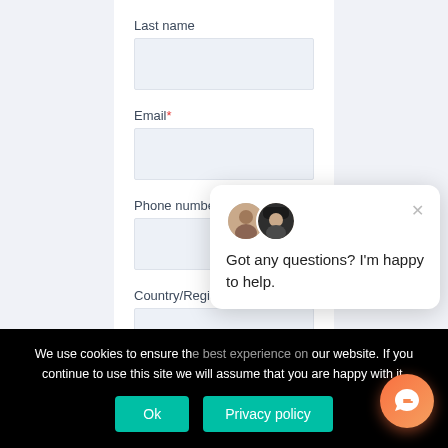Last name
Email*
Phone number
Country/Region
[Figure (screenshot): Chat popup with two agent avatars showing 'Got any questions? I'm happy to help.' message and an X close button]
We use cookies to ensure the best experience on our website. If you continue to use this site we will assume that you are happy with it.
Ok
Privacy policy
[Figure (illustration): Orange/pink circular chat floating action button]